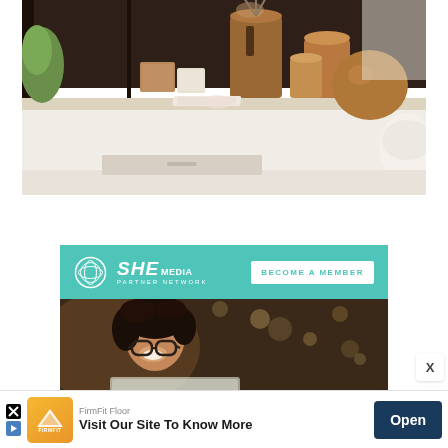[Figure (photo): Interior bathroom/vanity shelf with wooden decorative objects, cylinders, vases, tray, and vessel sink on a white counter. Dark shelving unit in background.]
[Figure (infographic): SHE Media Partner Network advertisement banner in teal color with logo and 'BECOME A MEMBER' call-to-action button, followed by photo of smiling woman with glasses and curly hair looking at laptop.]
FirmFit Floor
Visit Our Site To Know More
Open